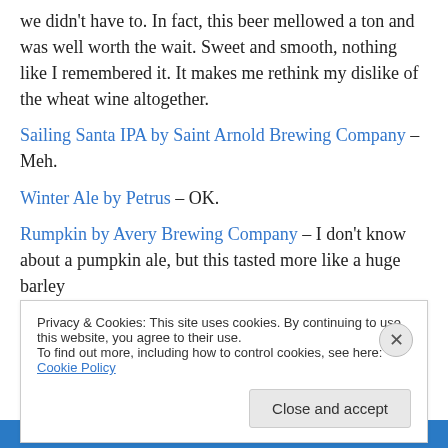we didn't have to. In fact, this beer mellowed a ton and was well worth the wait. Sweet and smooth, nothing like I remembered it. It makes me rethink my dislike of the wheat wine altogether.
Sailing Santa IPA by Saint Arnold Brewing Company – Meh.
Winter Ale by Petrus – OK.
Rumpkin by Avery Brewing Company – I don't know about a pumpkin ale, but this tasted more like a huge barley
Privacy & Cookies: This site uses cookies. By continuing to use this website, you agree to their use. To find out more, including how to control cookies, see here: Cookie Policy. Close and accept.